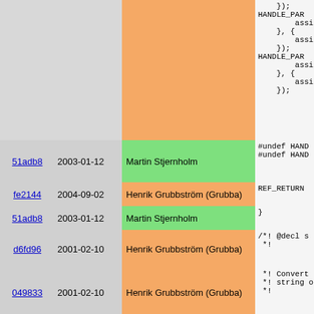| commit | date | author | code |
| --- | --- | --- | --- |
|  |  |  |     });
HANDLE_PAR
        assign
    }, {
        assign
    });
HANDLE_PAR
        assign
    }, {
        assign
    }); |
| 51adb8 | 2003-01-12 | Martin Stjernholm | #undef HAND
#undef HAND |
| fe2144 | 2004-09-02 | Henrik Grubbström (Grubba) | REF_RETURN |
| 51adb8 | 2003-01-12 | Martin Stjernholm | } |
| d6fd96 | 2001-02-10 | Henrik Grubbström (Grubba) | /*! @decl s
 *! |
| 049833 | 2001-02-10 | Henrik Grubbström (Grubba) |  *! Convert
 *! string o
 *! |
| f917a3 | 2002-10-03 | Martin Stjernholm |  *! Like @[
 *! ctime(2
 *! time ran
 *! a negati |